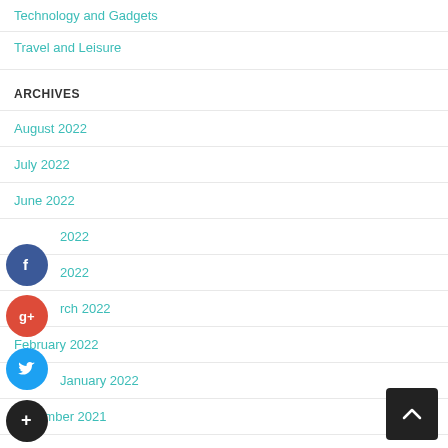Technology and Gadgets
Travel and Leisure
ARCHIVES
August 2022
July 2022
June 2022
May 2022
April 2022
March 2022
February 2022
January 2022
December 2021